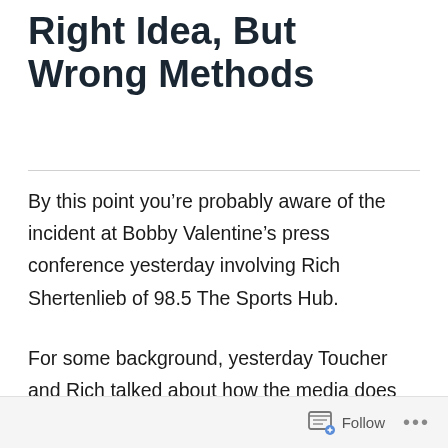Right Idea, But Wrong Methods
By this point you’re probably aware of the incident at Bobby Valentine’s press conference yesterday involving Rich Shertenlieb of 98.5 The Sports Hub.
For some background, yesterday Toucher and Rich talked about how the media does not ask the questions that the fans would like asked at these sort of press conferences. Rich announced his
Follow